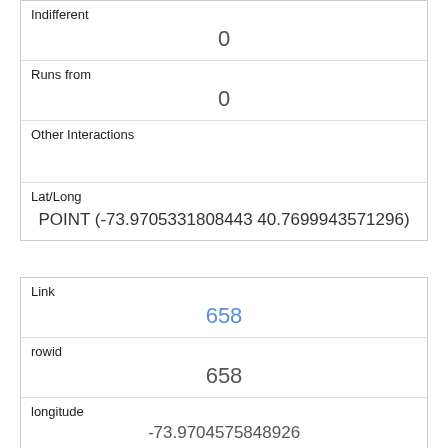| Indifferent | 0 |
| Runs from | 0 |
| Other Interactions |  |
| Lat/Long | POINT (-73.9705331808443 40.7699943571296) |
| Link | 658 |
| rowid | 658 |
| longitude | -73.9704575848926 |
| latitude | 40.7693499326095 |
| Unique Squirrel ID | 7H-PM-1006-09 |
| Hectare | 07H |